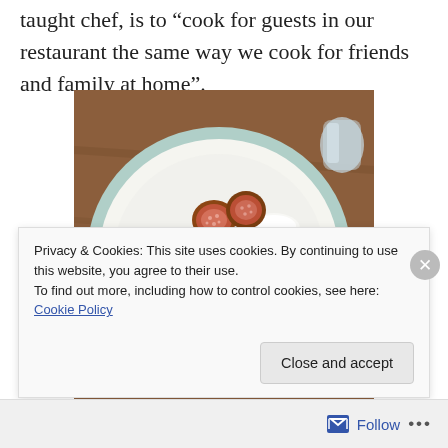taught chef, is to “cook for guests in our restaurant the same way we cook for friends and family at home”.
[Figure (photo): A white plate with a teal rim holding sliced fresh figs and bread topped with cream cheese, along with a small white ramekin, on a wooden table with a glass of water in the background.]
Privacy & Cookies: This site uses cookies. By continuing to use this website, you agree to their use.
To find out more, including how to control cookies, see here: Cookie Policy
Close and accept
Follow ...